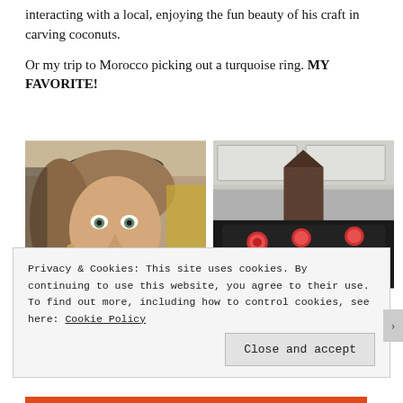interacting with a local, enjoying the fun beauty of his craft in carving coconuts.
Or my trip to Morocco picking out a turquoise ring. MY FAVORITE!
[Figure (photo): Two side-by-side photos: left shows a woman taking a selfie in what appears to be a market or shop, right shows a display of turquoise rings/jewelry on a dark surface.]
Privacy & Cookies: This site uses cookies. By continuing to use this website, you agree to their use.
To find out more, including how to control cookies, see here: Cookie Policy
Close and accept